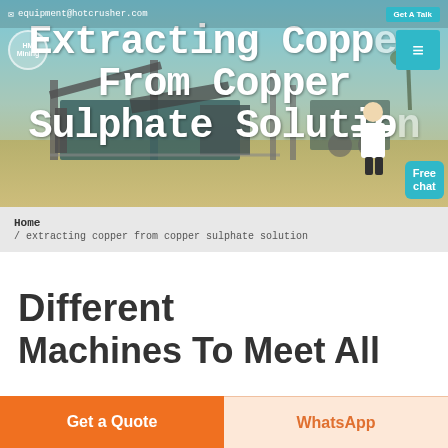equipment@hotcrusher.com | Get A Talk
Extracting Copper From Copper Sulphate Solution
Home / extracting copper from copper sulphate solution
Different Machines To Meet All
Get a Quote | WhatsApp